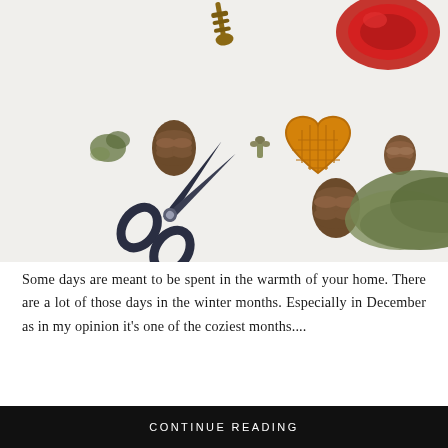[Figure (photo): Flat-lay photo on white background featuring craft and nature items: scissors, pine cones, dried herbs/thyme, a heart-shaped waffle cookie, red yarn ball, honey dipper, and small dried flowers arranged artfully.]
Some days are meant to be spent in the warmth of your home. There are a lot of those days in the winter months. Especially in December as in my opinion it’s one of the coziest months....
CONTINUE READING